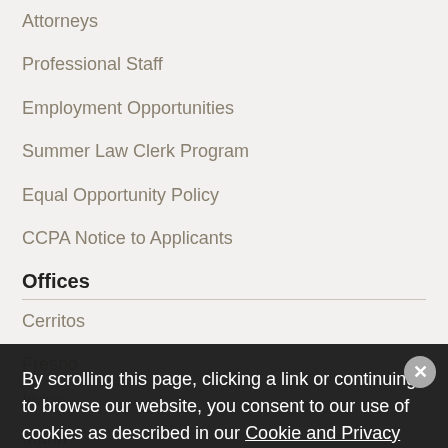Attorneys
Professional Staff
Employment Opportunities
Summer Law Clerk Program
Equal Opportunity Policy
CCPA Notice to Applicants
Offices
Cerritos
Fresno
Irvine
Marin
Pasadena
Pleasanton
Riverside
Sacramento
San Diego
By scrolling this page, clicking a link or continuing to browse our website, you consent to our use of cookies as described in our Cookie and Privacy Policy. If you do not wish to accept cookies from our website, or would like to stop cookies being stored on your device in the future, you can find out more and adjust your preferences here.